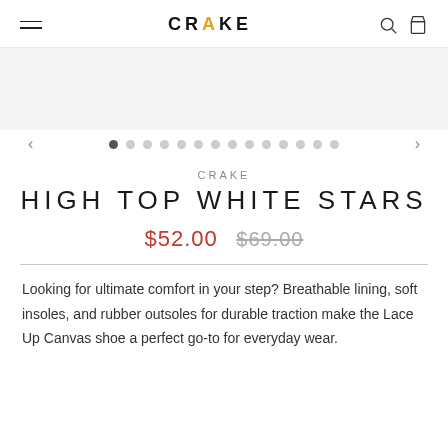CRAKE
[Figure (screenshot): Light gray image placeholder area for product photo]
CRAKE
HIGH TOP WHITE STARS
$52.00  $69.00
Looking for ultimate comfort in your step? Breathable lining, soft insoles, and rubber outsoles for durable traction make the Lace Up Canvas shoe a perfect go-to for everyday wear.